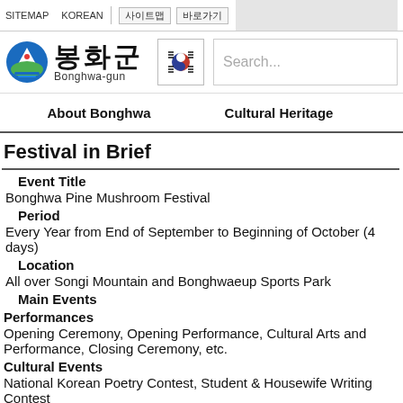SITEMAP  KOREAN  사이트맵  바로가기
[Figure (logo): Bonghwa-gun logo with mountain/nature icon, Korean text 봉화군, and text Bonghwa-gun, plus Korean flag icon and search bar]
About Bonghwa   Cultural Heritage
Festival in Brief
Event Title
Bonghwa Pine Mushroom Festival
Period
Every Year from End of September to Beginning of October (4 days)
Location
All over Songi Mountain and Bonghwaeup Sports Park
Main Events
Performances
Opening Ceremony, Opening Performance, Cultural Arts and Performance, Closing Ceremony, etc.
Cultural Events
National Korean Poetry Contest, Student & Housewife Writing Contest